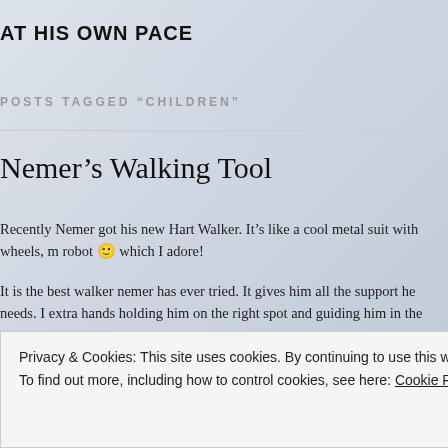AT HIS OWN PACE
POSTS TAGGED “CHILDREN”
Nemer’s Walking Tool
Recently Nemer got his new Hart Walker. It’s like a cool metal suit with wheels, m robot 🙂 which I adore!
It is the best walker nemer has ever tried. It gives him all the support he needs. It is like having extra hands holding him on the right spot and guiding him in the right way to take
The first time he tried it he didn’t do much, I guess he was overwhelmed. but as he became comfortable in it, and once he realized what he is capable of doing when he is in
Privacy & Cookies: This site uses cookies. By continuing to use this website, you agree to their use.
To find out more, including how to control cookies, see here: Cookie Policy
Close and accept